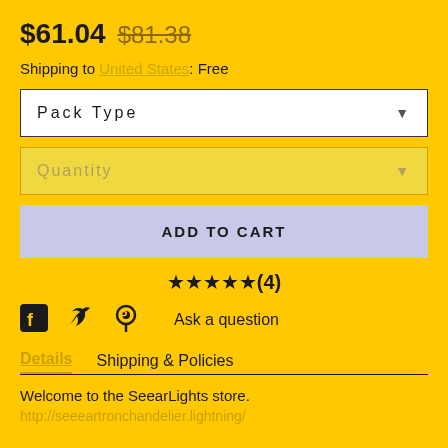$61.04 $81.38
Shipping to United States: Free
Pack Type
Quantity
ADD TO CART
★★★★★(4)
Ask a question
Details   Shipping & Policies
Welcome to the SeearLights store.
http://seeeartronichttps://lightning/